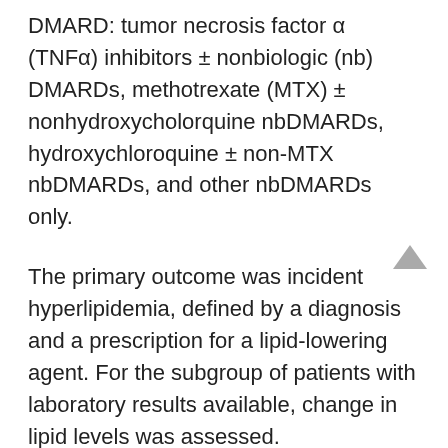DMARD: tumor necrosis factor α (TNFα) inhibitors ± nonbiologic (nb) DMARDs, methotrexate (MTX) ± nonhydroxycholorquine nbDMARDs, hydroxychloroquine ± non-MTX nbDMARDs, and other nbDMARDs only.
The primary outcome was incident hyperlipidemia, defined by a diagnosis and a prescription for a lipid-lowering agent. For the subgroup of patients with laboratory results available, change in lipid levels was assessed.
Excluding those diagnosed with